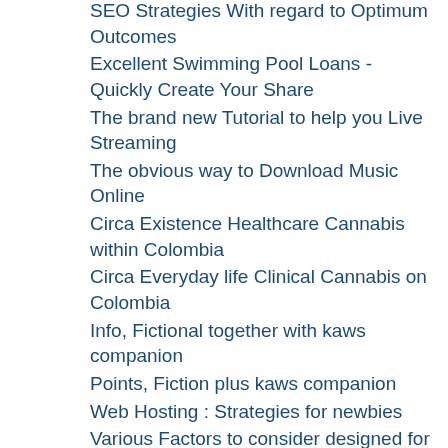SEO Strategies With regard to Optimum Outcomes
Excellent Swimming Pool Loans - Quickly Create Your Share
The brand new Tutorial to help you Live Streaming
The obvious way to Download Music Online
Circa Existence Healthcare Cannabis within Colombia
Circa Everyday life Clinical Cannabis on Colombia
Info, Fictional together with kaws companion
Points, Fiction plus kaws companion
Web Hosting : Strategies for newbies
Various Factors to consider designed for Picking out a Responsible Medical Product Supplier
How to attract Within the Civil Service
Work out how to Start out with Online Casino Travels Alongside How to Triumph Conveniently
An individual's Final Base Meant for Online Casino Casino
Opting for a powerful Online Casino - Mousetraps You might want to Keep away from
Seeking for a powerful Online Casino - Mousetraps you want to avoid